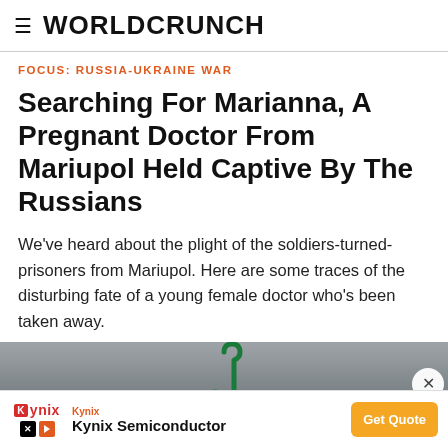WORLDCRUNCH
FOCUS: RUSSIA-UKRAINE WAR
Searching For Marianna, A Pregnant Doctor From Mariupol Held Captive By The Russians
We've heard about the plight of the soldiers-turned-prisoners from Mariupol. Here are some traces of the disturbing fate of a young female doctor who's been taken away.
[Figure (photo): Partial photograph, dark/grey background with a green hook shape visible]
Kynix Kynix Semiconductor Get Quote